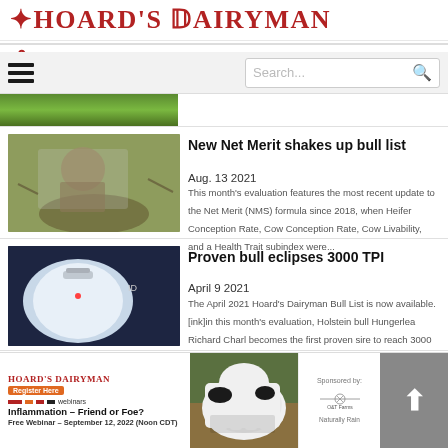Hoard's Dairyman
[Figure (screenshot): Navigation bar with hamburger menu and search box]
[Figure (photo): Partial green field image strip]
[Figure (photo): Man in hat looking at cattle]
New Net Merit shakes up bull list
Aug. 13 2021
This month's evaluation features the most recent update to the Net Merit (NMS) formula since 2018, when Heifer Conception Rate, Cow Conception Rate, Cow Livability, and a Health Trait subindex were...
[Figure (photo): Close-up of liquid nitrogen tank or dairy equipment]
Proven bull eclipses 3000 TPI
April 9 2021
The April 2021 Hoard's Dairyman Bull List is now available. [ink]in this month's evaluation, Holstein bull Hungerlea Richard Charl becomes the first proven sire to reach 3000 TPI
[Figure (infographic): Hoard's Dairyman webinar banner - Inflammation Friend or Foe, Free Webinar September 12 2022 Noon CDT, with dairy cow image and O&T Farms sponsor logo]